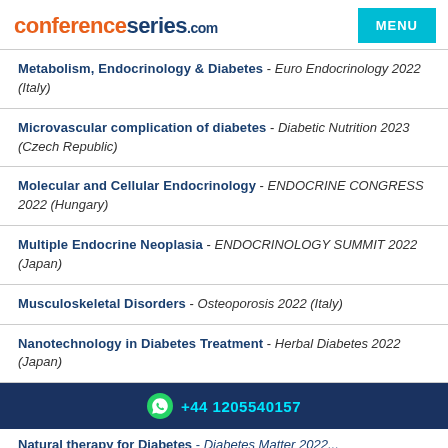conferenceseries.com | MENU
Metabolism, Endocrinology & Diabetes - Euro Endocrinology 2022 (Italy)
Microvascular complication of diabetes - Diabetic Nutrition 2023 (Czech Republic)
Molecular and Cellular Endocrinology - ENDOCRINE CONGRESS 2022 (Hungary)
Multiple Endocrine Neoplasia - ENDOCRINOLOGY SUMMIT 2022 (Japan)
Musculoskeletal Disorders - Osteoporosis 2022 (Italy)
Nanotechnology in Diabetes Treatment - Herbal Diabetes 2022 (Japan)
+44 1205540157
Natural therapy for Diabetes - Diabetes Matter 2022...